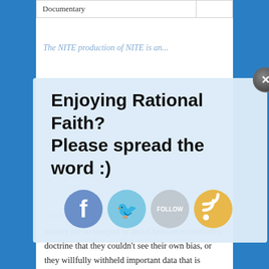| Documentary |  |
| --- | --- |
The NITE production of NITE is an...
[Figure (screenshot): Popup overlay with text 'Enjoying Rational Faith? Please spread the word :)' and social media icons for Facebook, Twitter, Follow, and RSS feed, with a close button (X) in the top right corner.]
balanced look, they failed miserably. Either the writers are so steeped in anti-Christian evolutionist doctrine that they couldn't see their own bias, or they willfully withheld important data that is relevant to the discussion. Or perhaps it's a bit of both.
If they were seriously trying to present objections of those who “Question Darwin” why